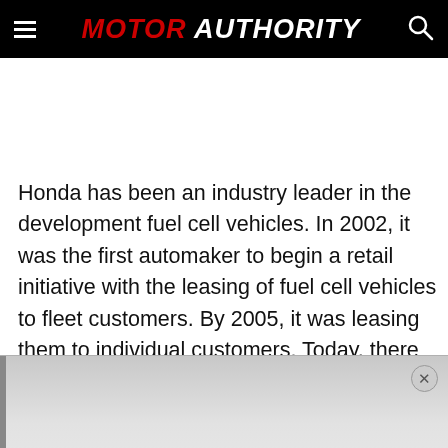MOTOR AUTHORITY
Honda has been an industry leader in the development fuel cell vehicles. In 2002, it was the first automaker to begin a retail initiative with the leasing of fuel cell vehicles to fleet customers. By 2005, it was leasing them to individual customers. Today, there are still roughly two
[Figure (other): Advertisement overlay with close button (x) in top right corner, gray gradient background with dark left bar]